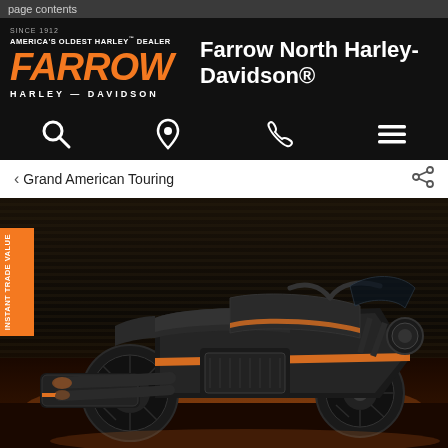page contents
Farrow North Harley-Davidson®
[Figure (logo): Farrow Harley-Davidson logo — America's Oldest Harley Dealer, orange italic FARROW wordmark]
Grand American Touring
[Figure (photo): A black and orange Harley-Davidson touring motorcycle (Street Glide style) parked in front of a dark corrugated metal garage door with orange accent lighting underneath]